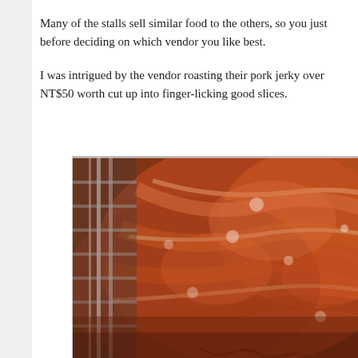Many of the stalls sell similar food to the others, so you just before deciding on which vendor you like best.
I was intrigued by the vendor roasting their pork jerky over NT$50 worth cut up into finger-licking good slices.
[Figure (photo): Close-up photo of roasted/smoked pork jerky slabs hanging on a rack, showing glazed, reddish-brown seasoned meat with a texture of dried jerky.]